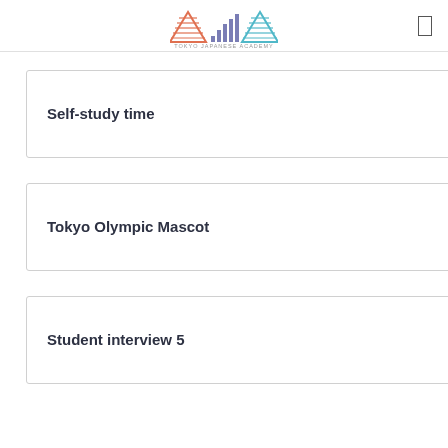TOKYO JAPANESE ACADEMY
Self-study time
Tokyo Olympic Mascot
Student interview 5